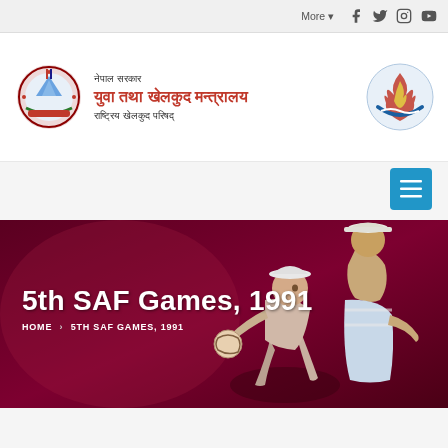More ▾  [Facebook] [Twitter] [Instagram] [YouTube]
[Figure (logo): Nepal Government emblem / coat of arms — circular seal with mountain, flags, and decorative border]
नेपाल सरकार
युवा तथा खेलकुद मन्त्रालय
राष्ट्रिय खेलकुद परिषद्
[Figure (logo): National Sports Council logo — stylized flame/torch emblem in red, white, blue]
[Figure (illustration): Dark maroon hero banner with stylized athlete illustrations — soccer player and a person in cap, rendered in illustrated style]
5th SAF Games, 1991
HOME > 5TH SAF GAMES, 1991